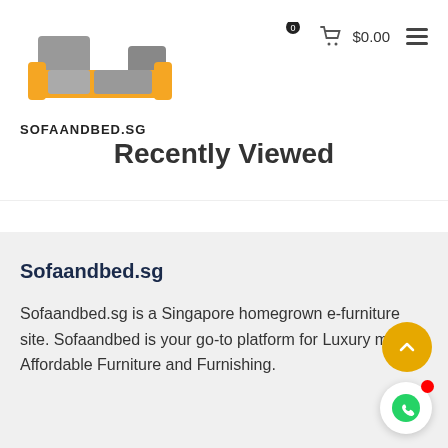[Figure (logo): Sofaandbed.sg logo with orange and grey sofa illustration above bold text SOFAANDBED.SG]
Recently Viewed
Sofaandbed.sg
Sofaandbed.sg is a Singapore homegrown e-furniture site. Sofaandbed is your go-to platform for Luxury made Affordable Furniture and Furnishing.